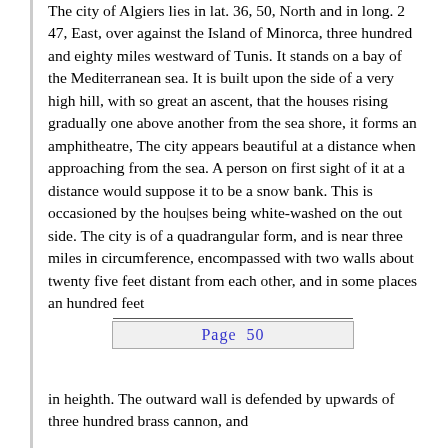The city of Algiers lies in lat. 36, 50, North and in long. 2 47, East, over against the Island of Minorca, three hundred and eighty miles westward of Tunis. It stands on a bay of the Mediterranean sea. It is built upon the side of a very high hill, with so great an ascent, that the houses rising gradually one above another from the sea shore, it forms an amphitheatre, The city appears beautiful at a distance when approaching from the sea. A person on first sight of it at a distance would suppose it to be a snow bank. This is occasioned by the houses being white-washed on the out side. The city is of a quadrangular form, and is near three miles in circumference, encompassed with two walls about twenty five feet distant from each other, and in some places an hundred feet
Page  50
in heighth. The outward wall is defended by upwards of three hundred brass cannon, and